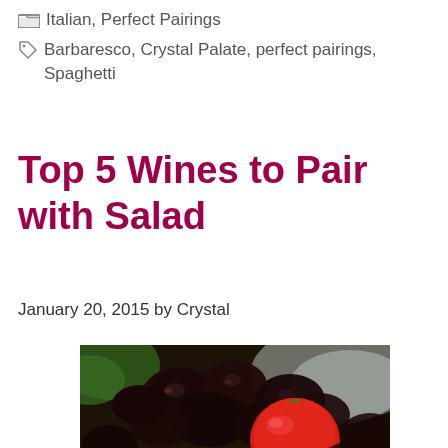Italian, Perfect Pairings
Barbaresco, Crystal Palate, perfect pairings, Spaghetti
Top 5 Wines to Pair with Salad
January 20, 2015 by Crystal
[Figure (photo): Close-up photo of dark olives and a red cherry tomato with white cheese, salad ingredients on a dark background]